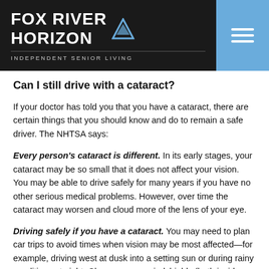[Figure (logo): Fox River Horizon Independent Senior Living logo on dark background with hamburger menu button]
Can I still drive with a cataract?
If your doctor has told you that you have a cataract, there are certain things that you should know and do to remain a safe driver. The NHTSA says:
Every person's cataract is different. In its early stages, your cataract may be so small that it does not affect your vision. You may be able to drive safely for many years if you have no other serious medical problems. However, over time the cataract may worsen and cloud more of the lens of your eye.
Driving safely if you have a cataract. You may need to plan car trips to avoid times when vision may be most affected—for example, driving west at dusk into a setting sun or during rainy conditions at night. Clean your car windshields (both inside and outside) often so vision is not reduced even